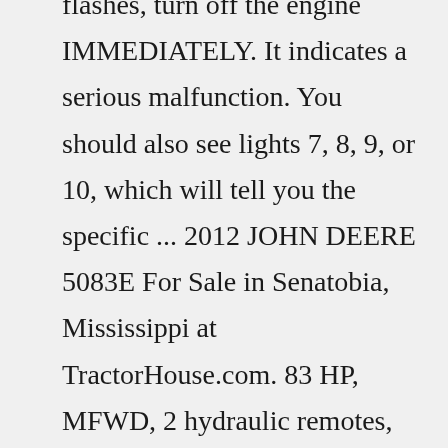flashes, turn off the engine IMMEDIATELY. It indicates a serious malfunction. You should also see lights 7, 8, 9, or 10, which will tell you the specific ... 2012 JOHN DEERE 5083E For Sale in Senatobia, Mississippi at TractorHouse.com. 83 HP, MFWD, 2 hydraulic remotes, 12 speed with power reverser. 2600 hours. Clean well maintained tractor. Illustrated Diagnostic Technical Service Manual for John Deere Tractors